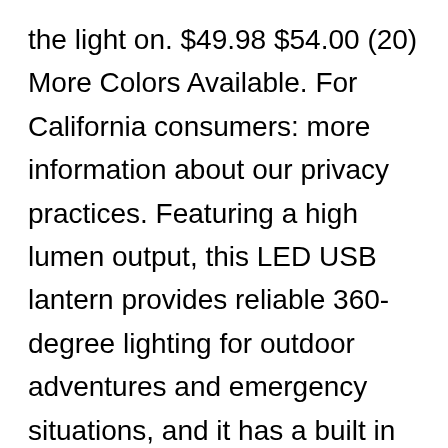the light on. $49.98 $54.00 (20) More Colors Available. For California consumers: more information about our privacy practices. Featuring a high lumen output, this LED USB lantern provides reliable 360-degree lighting for outdoor adventures and emergency situations, and it has a built in USB port to charge devices. They may also contain some four-letter words that aren't “tool” and other content that’s not appropriate for children. Safe, brilliant white LEDs for plenty of light with long battery life. Best Headlamps and Lanterns of 2017 "When you don’t have access to power, the LuminAID PackLite 2-in-1 Phone charger is a game changer." You asked, we answered. The clean lines